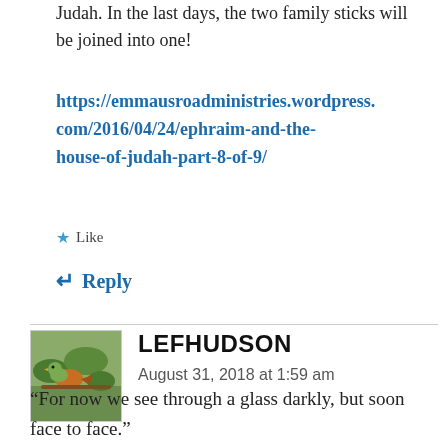Judah. In the last days, the two family sticks will be joined into one!
https://emmausroadministries.wordpress.com/2016/04/24/ephraim-and-the-house-of-judah-part-8-of-9/
★ Like
↵ Reply
LEFHUDSON
August 31, 2018 at 1:59 am
“For now we see through a glass darkly, but soon face to face.”